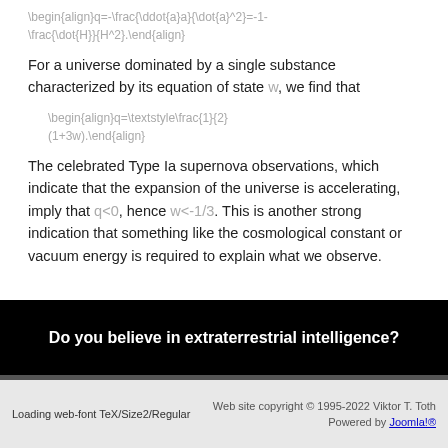For a universe dominated by a single substance characterized by its equation of state w, we find that
The celebrated Type Ia supernova observations, which indicate that the expansion of the universe is accelerating, imply that q<0, hence w<-1/3. This is another strong indication that something like the cosmological constant or vacuum energy is required to explain what we observe.
[Figure (infographic): Black banner advertisement: 'Do you believe in extraterrestrial intelligence?']
Loading web-font TeX/Size2/Regular | Web site copyright © 1995-2022 Viktor T. Toth | Powered by Joomla!®